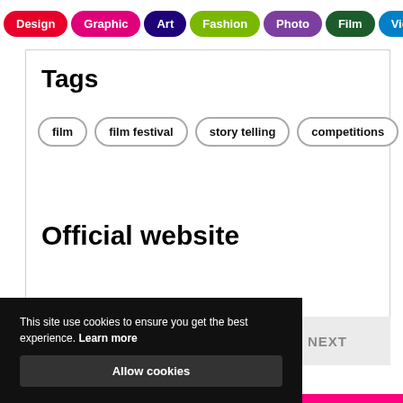Design | Graphic | Art | Fashion | Photo | Film | Video | Music
Tags
film
film festival
story telling
competitions
festivals
Official website
This site use cookies to ensure you get the best experience. Learn more
Allow cookies
NEXT